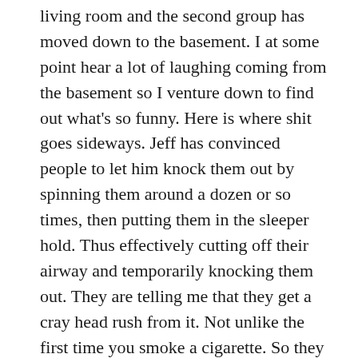living room and the second group has moved down to the basement. I at some point hear a lot of laughing coming from the basement so I venture down to find out what's so funny. Here is where shit goes sideways. Jeff has convinced people to let him knock them out by spinning them around a dozen or so times, then putting them in the sleeper hold. Thus effectively cutting off their airway and temporarily knocking them out. They are telling me that they get a cray head rush from it. Not unlike the first time you smoke a cigarette. So they are all taking turns doing this. The next thing I know I am smelling some sort of chemical fumes coming from the same area. They've now moved on from the spinning/sleeper knockout move, to sniffing paint or chemicals, or glue or whatever they have located in my Dad's workshop that happened to be down there. This has now turned into a “glue sniffing” party? WTF?